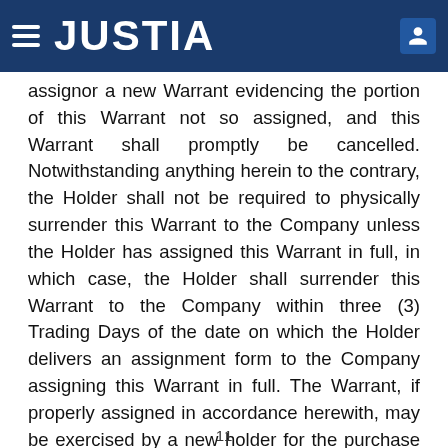JUSTIA
assignor a new Warrant evidencing the portion of this Warrant not so assigned, and this Warrant shall promptly be cancelled. Notwithstanding anything herein to the contrary, the Holder shall not be required to physically surrender this Warrant to the Company unless the Holder has assigned this Warrant in full, in which case, the Holder shall surrender this Warrant to the Company within three (3) Trading Days of the date on which the Holder delivers an assignment form to the Company assigning this Warrant in full. The Warrant, if properly assigned in accordance herewith, may be exercised by a new holder for the purchase of Warrant Shares without having a new Warrant issued.
11